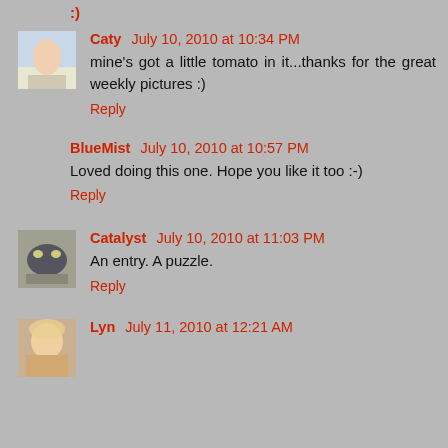:)
Caty July 10, 2010 at 10:34 PM
mine's got a little tomato in it...thanks for the great weekly pictures :)
Reply
BlueMist July 10, 2010 at 10:57 PM
Loved doing this one. Hope you like it too :-)
Reply
Catalyst July 10, 2010 at 11:03 PM
An entry. A puzzle.
Reply
Lyn July 11, 2010 at 12:21 AM